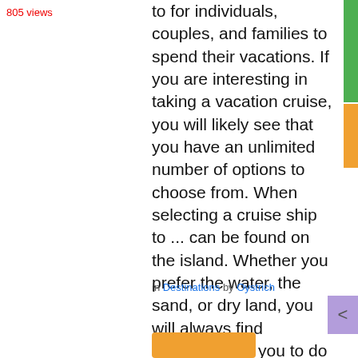805 views
to for individuals, couples, and families to spend their vacations. If you are interesting in taking a vacation cruise, you will likely see that you have an unlimited number of options to choose from. When selecting a cruise ship to ... can be found on the island. Whether you prefer the water, the sand, or dry land, you will always find something for you to do in St. Thomas.
in Destinations by Oystrich